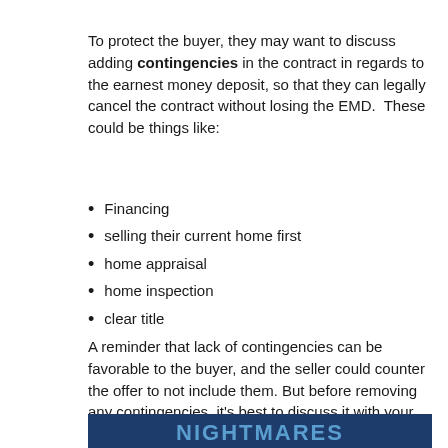To protect the buyer, they may want to discuss adding contingencies in the contract in regards to the earnest money deposit, so that they can legally cancel the contract without losing the EMD.  These could be things like:
Financing
selling their current home first
home appraisal
home inspection
clear title
A reminder that lack of contingencies can be favorable to the buyer, and the seller could counter the offer to not include them. But before removing any contingencies, it's best to discuss it with your real estate agent.
[Figure (other): Dark blue banner at the bottom with partial large bold text visible, beginning with letters that appear to be 'NIGHTMARES' or similar]